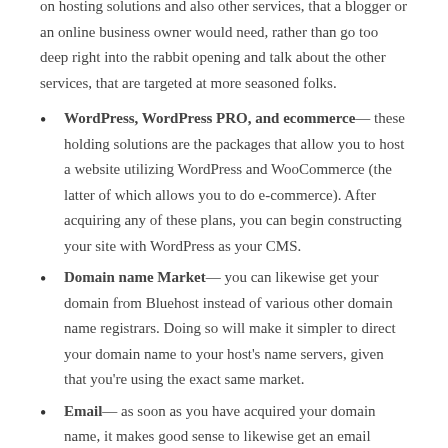on hosting solutions and also other services, that a blogger or an online business owner would need, rather than go too deep right into the rabbit opening and talk about the other services, that are targeted at more seasoned folks.
WordPress, WordPress PRO, and ecommerce— these holding solutions are the packages that allow you to host a website utilizing WordPress and WooCommerce (the latter of which allows you to do e-commerce). After acquiring any of these plans, you can begin constructing your site with WordPress as your CMS.
Domain name Market— you can likewise get your domain from Bluehost instead of various other domain name registrars. Doing so will make it simpler to direct your domain name to your host's name servers, given that you're using the exact same market.
Email— as soon as you have acquired your domain name, it makes good sense to likewise get an email address linked